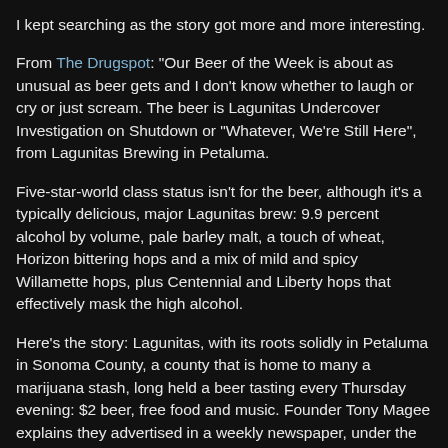I kept searching as the story got more and more interesting.
From The Drugspot: "Our Beer of the Week is about as unusual as beer gets and I don't know whether to laugh or cry or just scream. The beer is Lagunitas Undercover Investigation on Shutdown or "Whatever, We're Still Here", from Lagunitas Brewing in Petaluma.
Five-star-world class status isn't for the beer, although it's a typically delicious, major Lagunitas brew: 9.9 percent alcohol by volume, pale barley malt, a touch of wheat, Horizon bittering hops and a mix of mild and spicy Willamette hops, plus Centennial and Liberty hops that effectively mask the high alcohol.
Here's the story: Lagunitas, with its roots solidly in Petaluma in Sonoma County, a county that is home to many a marijuana stash, long held a beer tasting every Thursday evening: $2 beer, free food and music. Founder Tony Magee explains they advertised in a weekly newspaper, under the headline: "420."